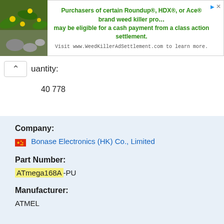[Figure (photo): Advertisement banner with plant/flower image and weed killer settlement text]
Quantity:
40 778
Company:
Bonase Electronics (HK) Co., Limited
Part Number:
ATmega168A-PU
Manufacturer:
ATMEL